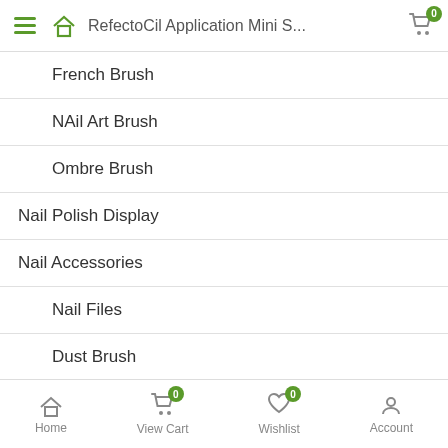RefectoCil Application Mini S...
French Brush
NAil Art Brush
Ombre Brush
Nail Polish Display
Nail Accessories
Nail Files
Dust Brush
Nail Buffers
Clips
Pink & White Cutter
Home | View Cart (0) | Wishlist (0) | Account